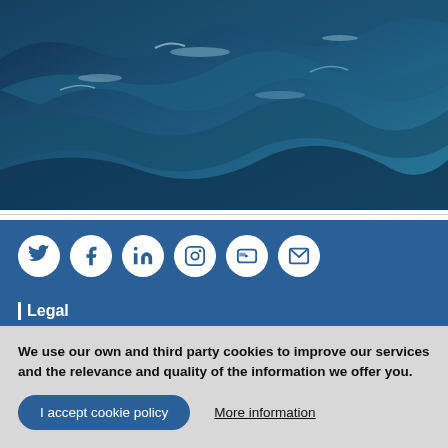[Figure (photo): Close-up photograph of dark blue ocean waves with light reflections on the water surface]
[Figure (infographic): Row of six white social media icons (Twitter, Facebook, LinkedIn, Instagram, YouTube, Email) on a blue background]
Legal
We use our own and third party cookies to improve our services and the relevance and quality of the information we offer you.
I accept cookie policy    More information